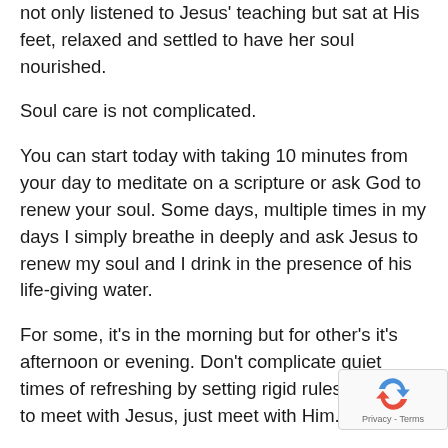not only listened to Jesus' teaching but sat at His feet, relaxed and settled to have her soul nourished.
Soul care is not complicated.
You can start today with taking 10 minutes from your day to meditate on a scripture or ask God to renew your soul. Some days, multiple times in my days I simply breathe in deeply and ask Jesus to renew my soul and I drink in the presence of his life-giving water.
For some, it's in the morning but for other's it's afternoon or evening. Don't complicate quiet times of refreshing by setting rigid rules of when to meet with Jesus, just meet with Him.